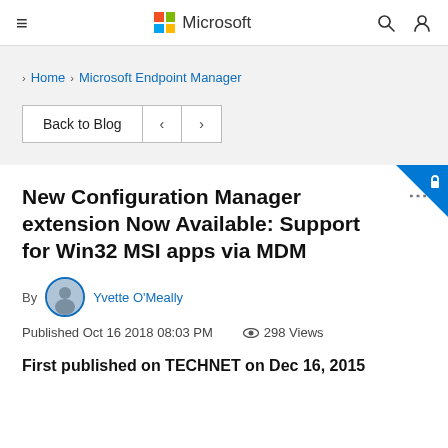Microsoft
Home > Microsoft Endpoint Manager
Back to Blog < >
New Configuration Manager extension Now Available: Support for Win32 MSI apps via MDM
By Yvette O'Meally
Published Oct 16 2018 08:03 PM  298 Views
First published on TECHNET on Dec 16, 2015